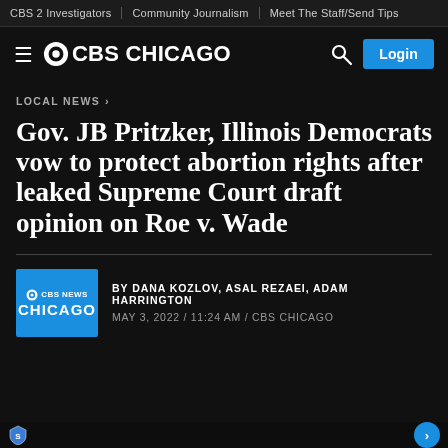CBS 2 Investigators | Community Journalism | Meet The Staff/Send Tips
[Figure (logo): CBS Chicago logo with hamburger menu, CBS eye logo, search icon, and Login button]
LOCAL NEWS ›
Gov. JB Pritzker, Illinois Democrats vow to protect abortion rights after leaked Supreme Court draft opinion on Roe v. Wade
[Figure (logo): CBS News Chicago blue logo box]
BY DANA KOZLOV, ASAL REZAEI, ADAM HARRINGTON
MAY 3, 2022 / 11:24 AM / CBS CHICAGO